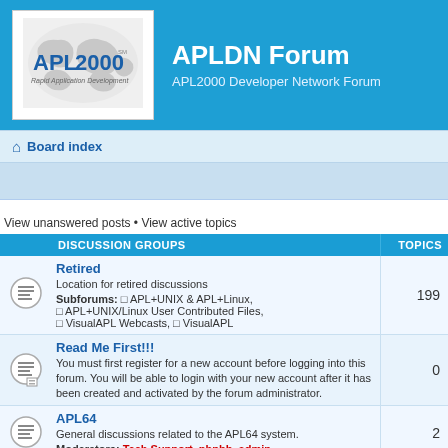APLDN Forum — APL2000 Developer Network Forum
Board index
View unanswered posts • View active topics
| DISCUSSION GROUPS | TOPICS |
| --- | --- |
| Retired
Location for retired discussions
Subforums: APL+UNIX & APL+Linux, APL+UNIX/Linux User Contributed Files, VisualAPL Webcasts, VisualAPL | 199 |
| Read Me First!!!
You must first register for a new account before logging into this forum. You will be able to login with your new account after it has been created and activated by the forum administrator. | 0 |
| APL64
General discussions related to the APL64 system.
Moderators: Tech Support, phpbb_admin | 2 |
| APL64 & The C# Script Engine
General discussions related to the C# Script Engine... | 1 |